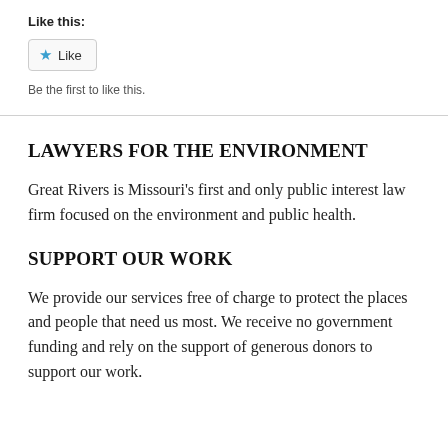Like this:
[Figure (other): Like button with blue star icon and text 'Like']
Be the first to like this.
LAWYERS FOR THE ENVIRONMENT
Great Rivers is Missouri's first and only public interest law firm focused on the environment and public health.
SUPPORT OUR WORK
We provide our services free of charge to protect the places and people that need us most. We receive no government funding and rely on the support of generous donors to support our work.